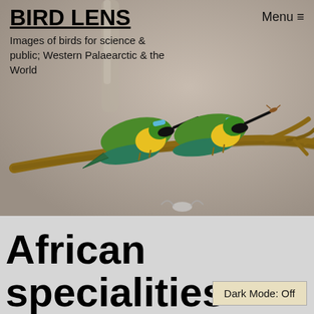BIRD LENS
Menu ≡
Images of birds for science & public; Western Palaearctic & the World
[Figure (photo): Two green-yellow bee-eater birds perched on a bare branch against a blurred grey-brown background. The birds have green and yellow plumage, black eye masks, and long beaks. One appears to have prey in its beak.]
African specialities
Dark Mode: Off